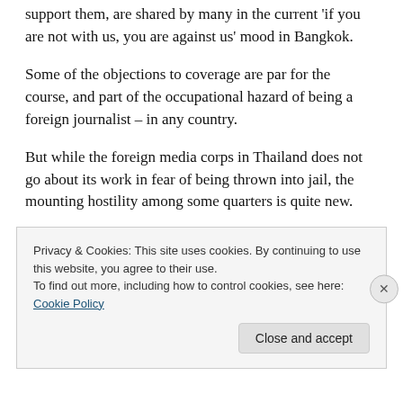support them, are shared by many in the current 'if you are not with us, you are against us' mood in Bangkok.
Some of the objections to coverage are par for the course, and part of the occupational hazard of being a foreign journalist – in any country.
But while the foreign media corps in Thailand does not go about its work in fear of being thrown into jail, the mounting hostility among some quarters is quite new.
My experience with my Thai friend was not an isolated
Privacy & Cookies: This site uses cookies. By continuing to use this website, you agree to their use.
To find out more, including how to control cookies, see here: Cookie Policy
Close and accept